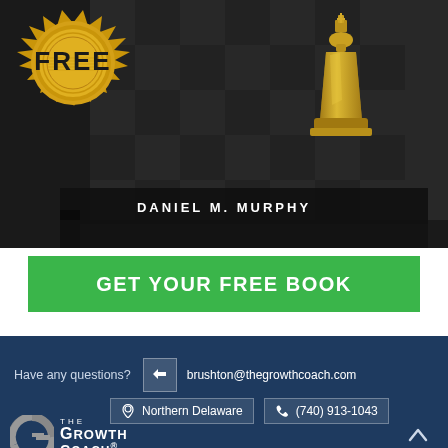[Figure (illustration): Book cover with gold FREE starburst seal on left, golden chess king piece on dark checkered background on right, author name 'DANIEL M. MURPHY' on spine/cover]
GET YOUR FREE BOOK
Have any questions?
brushton@thegrowthcoach.com
Northern Delaware
(740) 913-1043
[Figure (logo): The Growth Coach logo with silver G letter mark and white text]